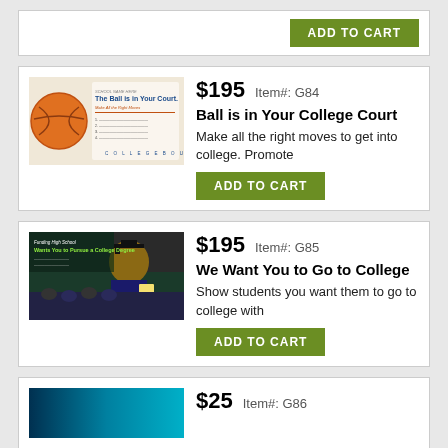[Figure (screenshot): Top partial product card showing ADD TO CART button only]
[Figure (photo): Basketball-themed banner image with text 'The Ball is in Your Court']
$195  Item#: G84
Ball is in Your College Court
Make all the right moves to get into college. Promote
[Figure (photo): Photo of graduating student in cap and gown with crowd behind, banner for college promotion]
$195  Item#: G85
We Want You to Go to College
Show students you want them to go to college with
[Figure (photo): Partial bottom card thumbnail - teal/blue image]
$25  Item#: G86